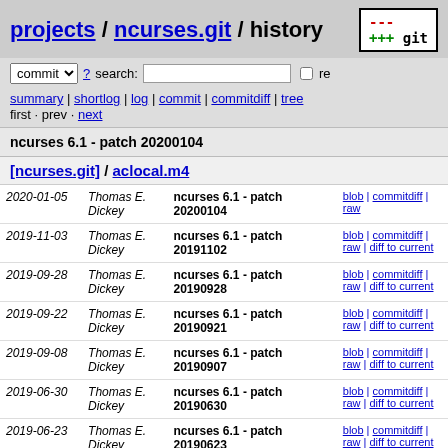projects / ncurses.git / history
commit ? search: re
summary | shortlog | log | commit | commitdiff | tree
first · prev · next
ncurses 6.1 - patch 20200104
[ncurses.git] / aclocal.m4
| Date | Author | Commit message | Links |
| --- | --- | --- | --- |
| 2020-01-05 | Thomas E. Dickey | ncurses 6.1 - patch 20200104 | blob | commitdiff | raw |
| 2019-11-03 | Thomas E. Dickey | ncurses 6.1 - patch 20191102 | blob | commitdiff | raw | diff to current |
| 2019-09-28 | Thomas E. Dickey | ncurses 6.1 - patch 20190928 | blob | commitdiff | raw | diff to current |
| 2019-09-22 | Thomas E. Dickey | ncurses 6.1 - patch 20190921 | blob | commitdiff | raw | diff to current |
| 2019-09-08 | Thomas E. Dickey | ncurses 6.1 - patch 20190907 | blob | commitdiff | raw | diff to current |
| 2019-06-30 | Thomas E. Dickey | ncurses 6.1 - patch 20190630 | blob | commitdiff | raw | diff to current |
| 2019-06-23 | Thomas E. Dickey | ncurses 6.1 - patch 20190623 | blob | commitdiff | raw | diff to current |
| 2019-03-21 | Thomas E. Dickey | ncurses 6.1 - patch 20190320 | blob | commitdiff | raw | diff to current |